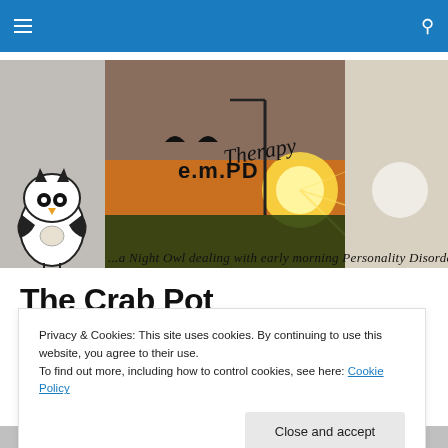Navigation bar with hamburger menu and search icon
[Figure (illustration): e.m.PD Therapy banner image featuring a sunset landscape with a street lamp, an owl illustration, and the text 'e.m.PD Therapy ...a Night Owl dealing with early morning Personality Disorder']
The Crab Pot
Privacy & Cookies: This site uses cookies. By continuing to use this website, you agree to their use.
To find out more, including how to control cookies, see here: Cookie Policy
Close and accept